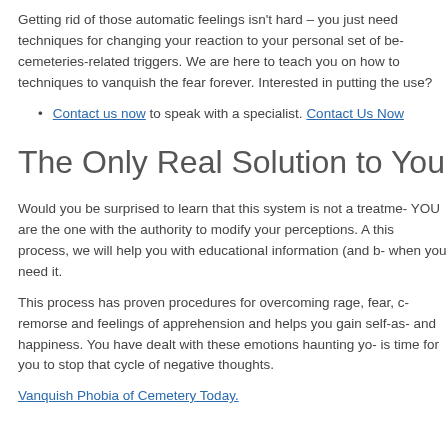Getting rid of those automatic feelings isn't hard – you just need techniques for changing your reaction to your personal set of be- cemeteries-related triggers. We are here to teach you on how to techniques to vanquish the fear forever. Interested in putting the use?
Contact us now to speak with a specialist. Contact Us Now
The Only Real Solution to You
Would you be surprised to learn that this system is not a treatme- YOU are the one with the authority to modify your perceptions. A this process, we will help you with educational information (and b- when you need it.
This process has proven procedures for overcoming rage, fear, c- remorse and feelings of apprehension and helps you gain self-as- and happiness. You have dealt with these emotions haunting yo- is time for you to stop that cycle of negative thoughts.
Vanquish Phobia of Cemetery Today.